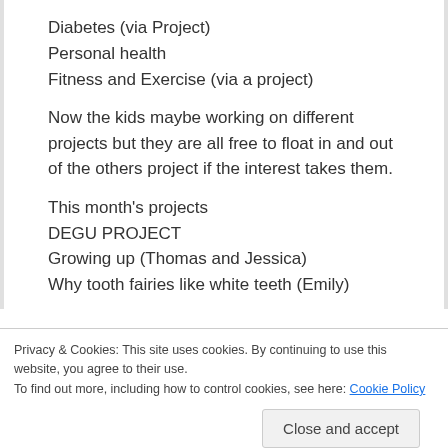Diabetes (via Project)
Personal health
Fitness and Exercise (via a project)
Now the kids maybe working on different projects but they are all free to float in and out of the others project if the interest takes them.
This month's projects
DEGU PROJECT
Growing up (Thomas and Jessica)
Why tooth fairies like white teeth (Emily)
Privacy & Cookies: This site uses cookies. By continuing to use this website, you agree to their use.
To find out more, including how to control cookies, see here: Cookie Policy
Close and accept
So that is it for now each month we re choose the